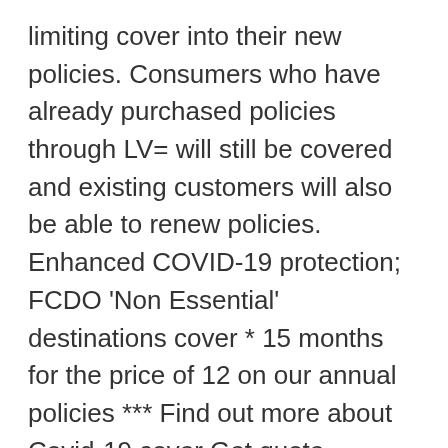limiting cover into their new policies. Consumers who have already purchased policies through LV= will still be covered and existing customers will also be able to renew policies. Enhanced COVID-19 protection; FCDO 'Non Essential' destinations cover * 15 months for the price of 12 on our annual policies *** Find out more about Covid-19 cover Get quote. Admiral, Aviva, Churchill and Direct Line have joined LV= in suspending sales of new travel insurance policies, as COVID-19 quarantines ground flights and scupper holiday plans.. All four insurers confirmed they were pausing the sale of new policies to focus on serving existing customers, who will still retain cover for their